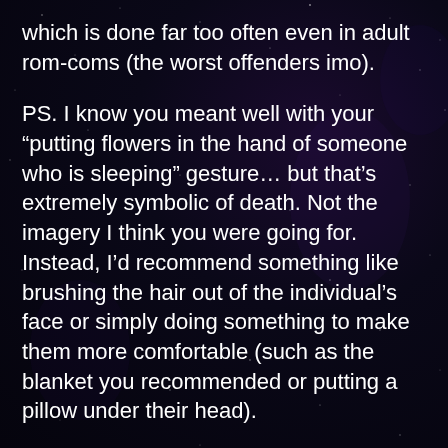which is done far too often even in adult rom-coms (the worst offenders imo).
PS. I know you meant well with your “putting flowers in the hand of someone who is sleeping” gesture… but that’s extremely symbolic of death. Not the imagery I think you were going for. Instead, I’d recommend something like brushing the hair out of the individual’s face or simply doing something to make them more comfortable (such as the blanket you recommended or putting a pillow under their head).
Reply